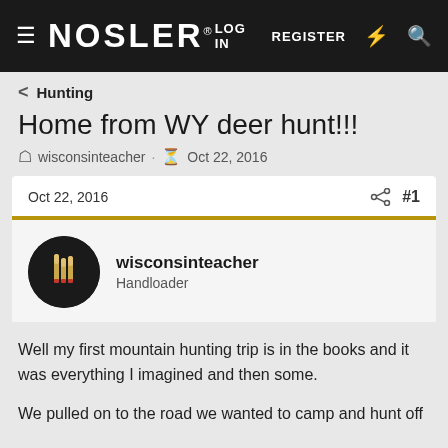NOSLER  LOG IN  REGISTER
< Hunting
Home from WY deer hunt!!!
wisconsinteacher · Oct 22, 2016
Oct 22, 2016  #1
wisconsinteacher
Handloader
Well my first mountain hunting trip is in the books and it was everything I imagined and then some.

We pulled on to the road we wanted to camp and hunt off